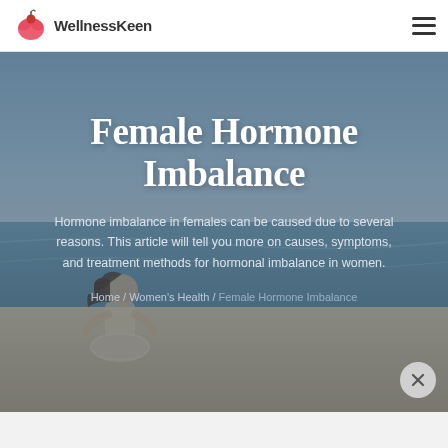WellnessKeen
[Figure (photo): Woman sitting in meditation pose on a beach with ocean in the background, serving as hero background image]
Female Hormone Imbalance
Hormone imbalance in females can be caused due to several reasons. This article will tell you more on causes, symptoms, and treatment methods for hormonal imbalance in women.
Home / Women's Health / Female Hormone Imbalance